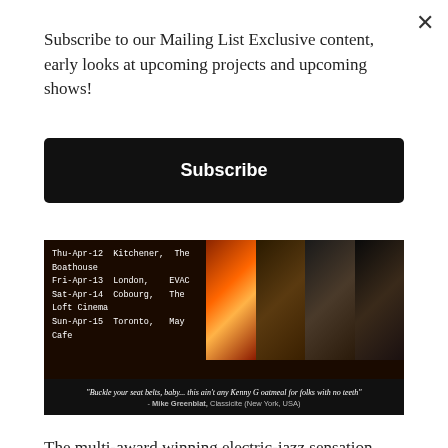Subscribe to our Mailing List Exclusive content, early looks at upcoming projects and upcoming shows!
Subscribe
[Figure (photo): Concert tour promotional banner showing fire/flames imagery, musicians with trumpet and guitar, alongside tour dates listing Thu-Apr-12 Kitchener The Boathouse, Fri-Apr-13 London EVAC, Sat-Apr-14 Cobourg The Loft Cinema, Sun-Apr-15 Toronto May Cafe, with a quote: 'Buckle your seat belts, baby... this ain't any Kenny G oatmeal for folks with no teeth' - Mike Greenblat, Classicite (New York, USA)]
The multi-award winning electric-jazz sensation Snaggle, led by synthist Nick Maclean and featuring the internationally acclaimed jazz-trumpet iconoclast BROWNMAN ALI (Jay-z, Missy Elliot, Paul Simon, Quincy Jones) is embarking on their APRIL MINI TOUR playing shows in KITCHENER, LONDON, COBOURG, and TORONTO! Don't miss this electrifying and